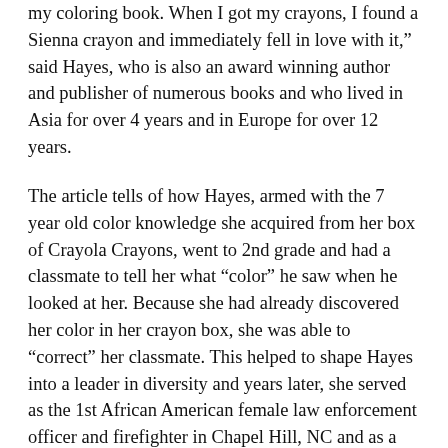my coloring book. When I got my crayons, I found a Sienna crayon and immediately fell in love with it," said Hayes, who is also an award winning author and publisher of numerous books and who lived in Asia for over 4 years and in Europe for over 12 years.
The article tells of how Hayes, armed with the 7 year old color knowledge she acquired from her box of Crayola Crayons, went to 2nd grade and had a classmate to tell her what “color” he saw when he looked at her. Because she had already discovered her color in her crayon box, she was able to “correct” her classmate. This helped to shape Hayes into a leader in diversity and years later, she served as the 1st African American female law enforcement officer and firefighter in Chapel Hill, NC and as a Governor appointed Commissioner on the African American Heritage Commission for the state. It is also known as in